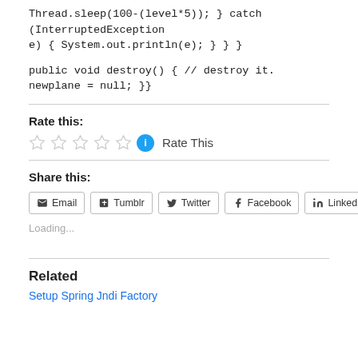Thread.sleep(100-(level*5)); } catch (InterruptedException e) { System.out.println(e); } } }
public void destroy() { // destroy it. newplane = null; }}
Rate this:
[Figure (other): Five empty star rating icons followed by a blue info circle icon and 'Rate This' text]
Share this:
Email  Tumblr  Twitter  Facebook  LinkedIn
Loading...
Related
Setup Spring Jndi Factory